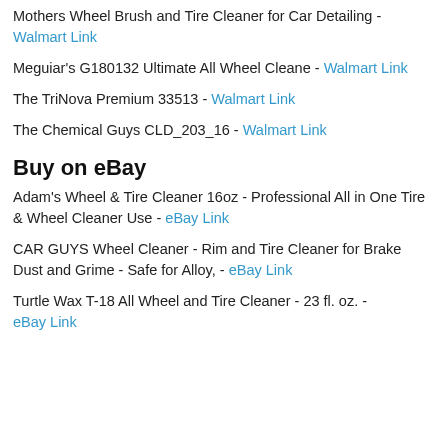Mothers Wheel Brush and Tire Cleaner for Car Detailing - Walmart Link
Meguiar's G180132 Ultimate All Wheel Cleane - Walmart Link
The TriNova Premium 33513 - Walmart Link
The Chemical Guys CLD_203_16 - Walmart Link
Buy on eBay
Adam's Wheel & Tire Cleaner 16oz - Professional All in One Tire & Wheel Cleaner Use - eBay Link
CAR GUYS Wheel Cleaner - Rim and Tire Cleaner for Brake Dust and Grime - Safe for Alloy, - eBay Link
Turtle Wax T-18 All Wheel and Tire Cleaner - 23 fl. oz. - eBay Link